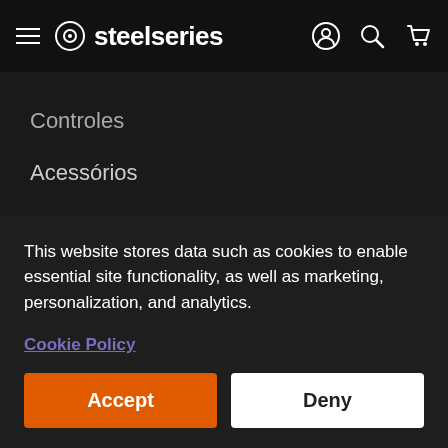steelseries
Controles
Acessórios
Vendas
Todos os produtos
This website stores data such as cookies to enable essential site functionality, as well as marketing, personalization, and analytics.
Cookie Policy
Accept
Deny